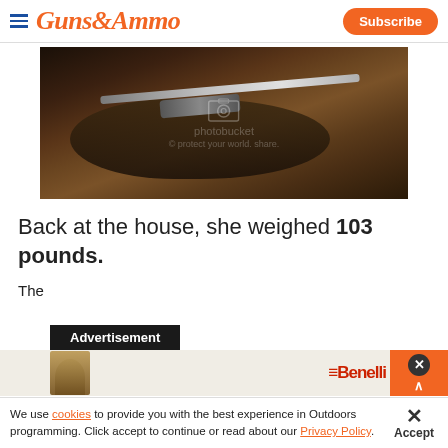GUNS&AMMO — Subscribe
[Figure (photo): A wild hog lying on the ground with a scoped rifle resting on top of it, outdoors at night. Photobucket watermark visible.]
Back at the house, she weighed 103 pounds.
The [Advertisement overlay] ...ller the hide was MAS[cut off] [Benelli ad visible]
We use cookies to provide you with the best experience in Outdoors programming. Click accept to continue or read about our Privacy Policy.